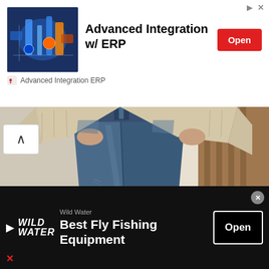[Figure (screenshot): Top advertisement banner for Advanced Integration w/ ERP showing machinery thumbnail image, bold title text, red Open button, and sponsor name 'Advanced Integration ERP']
[Figure (photo): Photo of a person wearing blue denim jeans and a chunky cream/beige knit sweater, showing midsection and hands in pockets, with stairs visible in background]
[Figure (screenshot): Bottom advertisement banner for Wild Water Best Fly Fishing Equipment on dark background with white Open button]